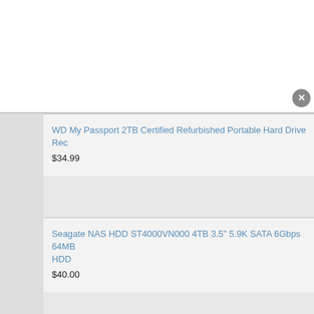WD My Passport 2TB Certified Refurbished Portable Hard Drive Rec
$34.99
Seagate NAS HDD ST4000VN000 4TB 3.5" 5.9K SATA 6Gbps 64MB HDD
$40.00
Western Digital RE WD2000FYYZ 2TB 7200 RPM 64MB Cache SAT Drive
$36.99